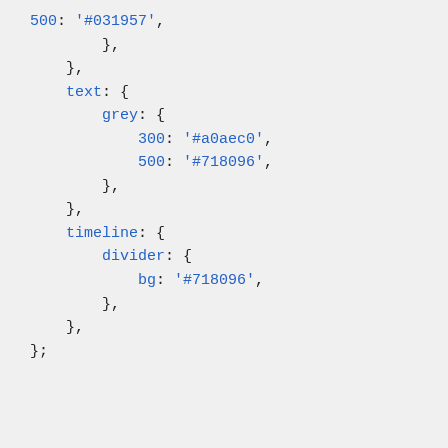500: '#031957',
    },
  },
  text: {
    grey: {
      300: '#a0aec0',
      500: '#718096',
    },
  },
  timeline: {
    divider: {
      bg: '#718096',
    },
  },
};